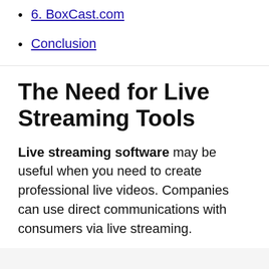6. BoxCast.com
Conclusion
The Need for Live Streaming Tools
Live streaming software may be useful when you need to create professional live videos. Companies can use direct communications with consumers via live streaming.